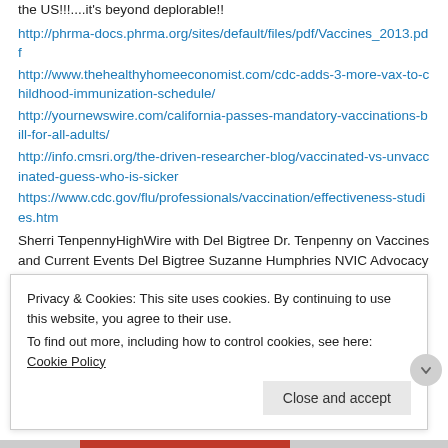the US!!!....it's beyond deplorable!!
http://phrma-docs.phrma.org/sites/default/files/pdf/Vaccines_2013.pdf
http://www.thehealthyhomeeconomist.com/cdc-adds-3-more-vax-to-childhood-immunization-schedule/
http://yournewswire.com/california-passes-mandatory-vaccinations-bill-for-all-adults/
http://info.cmsri.org/the-driven-researcher-blog/vaccinated-vs-unvaccinated-guess-who-is-sicker
https://www.cdc.gov/flu/professionals/vaccination/effectiveness-studies.htm
Sherri TenpennyHighWire with Del Bigtree Dr. Tenpenny on Vaccines and Current Events Del Bigtree Suzanne Humphries NVIC Advocacy NVIC Barbara Loe Fisher We Are Vaxxed Vaxxed – A Revolution For Choice Vaxxed: From Cover-Up to Catastrophe Robert F. Kennedy Patrick Gentempo VaccinesRevealed Robert F. Kennedy, Jr World Mercury Project David Wolfe Norman Colby Dr. Michael B. Dibley Jack Wolfson Jodi Hauver
Privacy & Cookies: This site uses cookies. By continuing to use this website, you agree to their use.
To find out more, including how to control cookies, see here: Cookie Policy
Close and accept